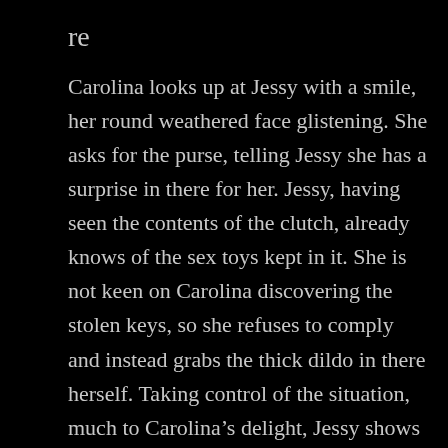re
Carolina looks up at Jessy with a smile, her round weathered face glistening. She asks for the purse, telling Jessy she has a surprise in there for her. Jessy, having seen the contents of the clutch, already knows of the sex toys kept in it. She is not keen on Carolina discovering the stolen keys, so she refuses to comply and instead grabs the thick dildo in there herself. Taking control of the situation, much to Carolina’s delight, Jessy shows what Tan must see in her by forcing the toy deep into Carolina’s throat. She holds it there until the older woman is nearly passed out, eyes wide and watering. When she collapses on the floor, Jessy laughs and makes herself presentable again. Still hiding the keys, she waits for Carolina to regain her composure and